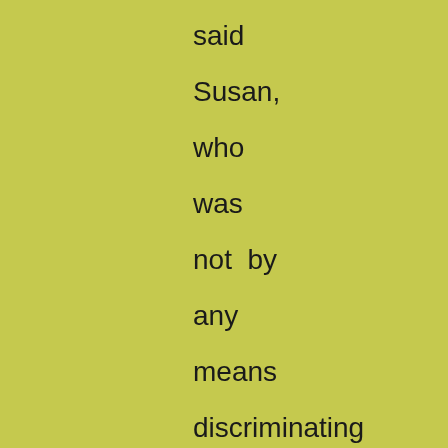said Susan, who was not by any means discriminating in her wrath, 'and really feel it as a honour to receive your commands